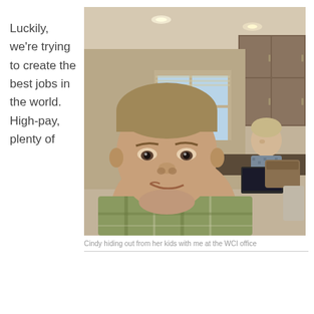Luckily, we're trying to create the best jobs in the world. High-pay, plenty of
[Figure (photo): A selfie photo of a man in a plaid shirt in the foreground, with a woman sitting at a table with a laptop in the background, inside what appears to be an office or kitchen area with wood cabinets.]
Cindy hiding out from her kids with me at the WCI office